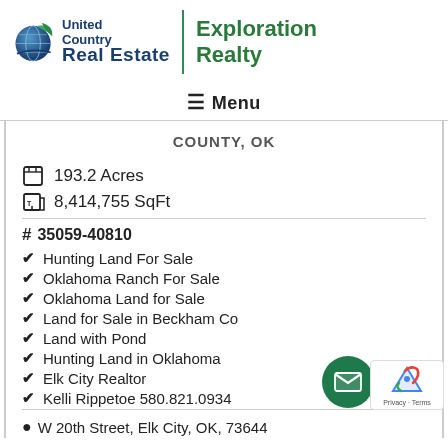[Figure (logo): United Country Real Estate | Exploration Realty logo with globe icon]
≡ Menu
COUNTY, OK
193.2 Acres
8,414,755 SqFt
# 35059-40810
Hunting Land For Sale
Oklahoma Ranch For Sale
Oklahoma Land for Sale
Land for Sale in Beckham Co
Land with Pond
Hunting Land in Oklahoma
Elk City Realtor
Kelli Rippetoe 580.821.0934
W 20th Street, Elk City, OK, 73644